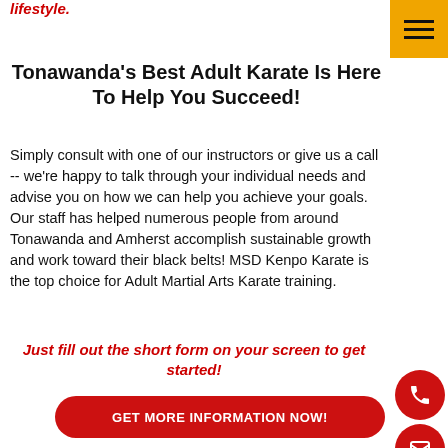lifestyle.
Tonawanda's Best Adult Karate Is Here To Help You Succeed!
Simply consult with one of our instructors or give us a call -- we're happy to talk through your individual needs and advise you on how we can help you achieve your goals. Our staff has helped numerous people from around Tonawanda and Amherst accomplish sustainable growth and work toward their black belts! MSD Kenpo Karate is the top choice for Adult Martial Arts Karate training.
Just fill out the short form on your screen to get started!
GET MORE INFORMATION NOW!